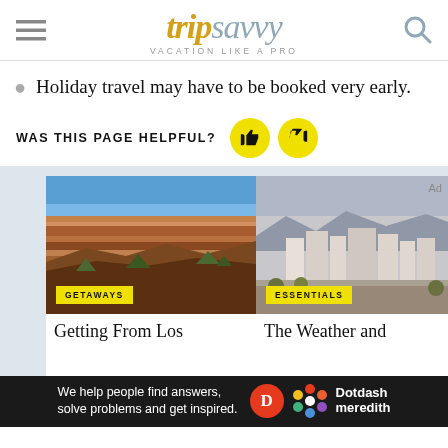tripsavvy — VACATION LIKE A PRO
Holiday travel may have to be booked very early.
WAS THIS PAGE HELPFUL?
[Figure (photo): Grand Canyon aerial view with red rock formations and blue sky]
GETAWAYS
Getting From Los
[Figure (photo): Phoenix city skyline with mountains in background and hazy sky]
ESSENTIALS
The Weather and
We help people find answers, solve problems and get inspired. Dotdash meredith